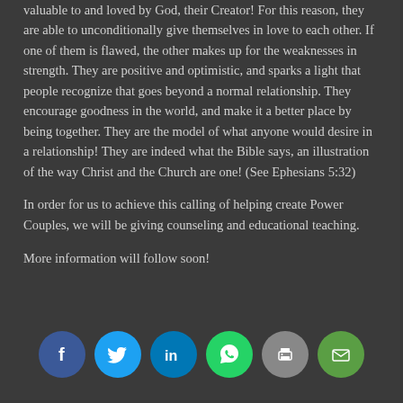valuable to and loved by God, their Creator! For this reason, they are able to unconditionally give themselves in love to each other. If one of them is flawed, the other makes up for the weaknesses in strength. They are positive and optimistic, and sparks a light that people recognize that goes beyond a normal relationship. They encourage goodness in the world, and make it a better place by being together. They are the model of what anyone would desire in a relationship! They are indeed what the Bible says, an illustration of the way Christ and the Church are one! (See Ephesians 5:32)
In order for us to achieve this calling of helping create Power Couples, we will be giving counseling and educational teaching.
More information will follow soon!
[Figure (infographic): Row of six social media share buttons: Facebook (blue circle with f), Twitter (cyan circle with bird), LinkedIn (dark cyan circle with 'in'), WhatsApp (green circle with phone icon), Print (gray circle with printer icon), Email (green circle with envelope icon)]